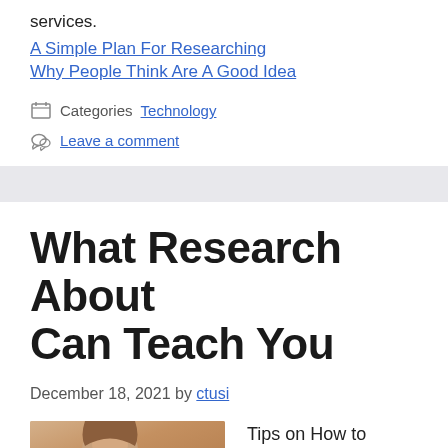services.
A Simple Plan For Researching
Why People Think Are A Good Idea
Technology
Leave a comment
What Research About Can Teach You
December 18, 2021 by ctusi
[Figure (photo): Partial photo of a person, cropped at bottom of page]
Tips on How to Choose the Right